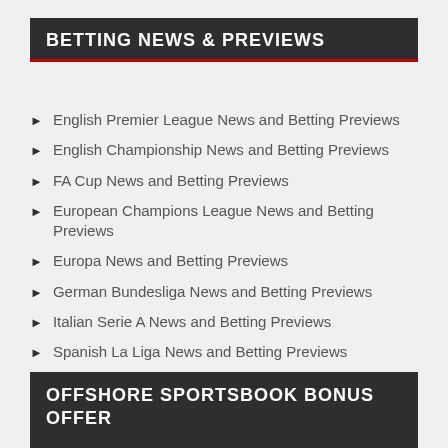BETTING NEWS & PREVIEWS
English Premier League News and Betting Previews
English Championship News and Betting Previews
FA Cup News and Betting Previews
European Champions League News and Betting Previews
Europa News and Betting Previews
German Bundesliga News and Betting Previews
Italian Serie A News and Betting Previews
Spanish La Liga News and Betting Previews
MLS Betting News and Previews
Soccer-Betting-Tips
OFFSHORE SPORTSBOOK BONUS OFFER